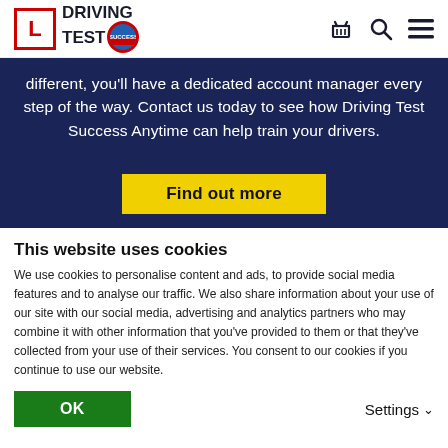Driving Test Success — logo and navigation header
[Figure (screenshot): Dark navy blue banner with white text: 'different, you'll have a dedicated account manager every step of the way. Contact us today to see how Driving Test Success Anytime can help train your drivers.' and a yellow 'Find out more' button]
This website uses cookies
We use cookies to personalise content and ads, to provide social media features and to analyse our traffic. We also share information about your use of our site with our social media, advertising and analytics partners who may combine it with other information that you've provided to them or that they've collected from your use of their services. You consent to our cookies if you continue to use our website.
OK | Settings